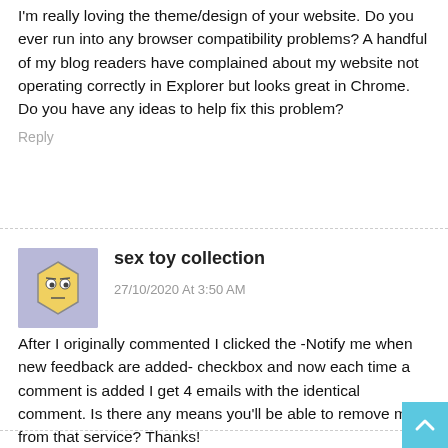I'm really loving the theme/design of your website. Do you ever run into any browser compatibility problems? A handful of my blog readers have complained about my website not operating correctly in Explorer but looks great in Chrome. Do you have any ideas to help fix this problem?
Reply
[Figure (illustration): Yellow hexagon robot avatar with a skeptical expression on a purple/lavender background]
sex toy collection
27/10/2020 At 3:50 AM
After I originally commented I clicked the -Notify me when new feedback are added- checkbox and now each time a comment is added I get 4 emails with the identical comment. Is there any means you'll be able to remove me from that service? Thanks!
Reply
[Figure (illustration): Purple robot avatar with sunglasses on a lavender background]
Visit My site